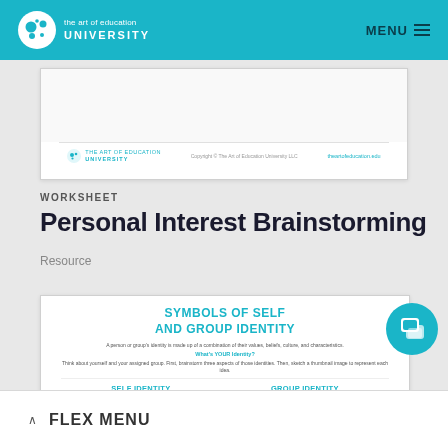the art of education UNIVERSITY | MENU
[Figure (screenshot): Preview thumbnail of a worksheet document with The Art of Education University logo and footer]
WORKSHEET
Personal Interest Brainstorming
Resource
[Figure (screenshot): Preview of 'Symbols of Self and Group Identity' worksheet showing title, description, and SELF IDENTITY / GROUP IDENTITY columns]
FLEX MENU